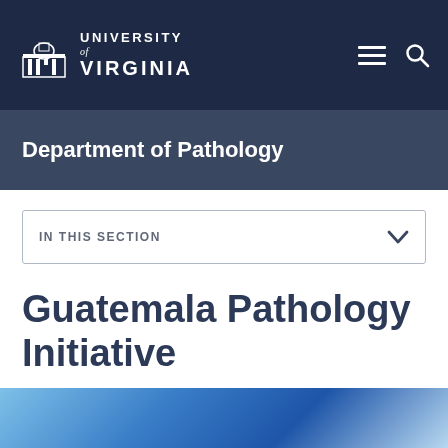[Figure (logo): University of Virginia logo with building icon and text]
Department of Pathology
IN THIS SECTION
Guatemala Pathology Initiative
[Figure (photo): Blue gradient background image, partial view at bottom of page]